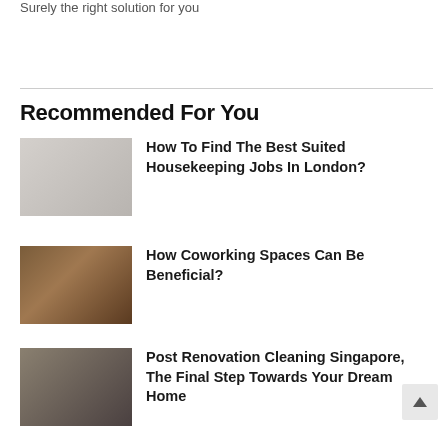Surely the right solution for you
Recommended For You
[Figure (photo): Woman in cleaning uniform working at a desk in an office setting]
How To Find The Best Suited Housekeeping Jobs In London?
[Figure (photo): Interior of a coworking space with warm lighting and wooden furniture]
How Coworking Spaces Can Be Beneficial?
[Figure (photo): Post-renovation interior of a corridor under construction]
Post Renovation Cleaning Singapore, The Final Step Towards Your Dream Home
Product Tracking Software: An